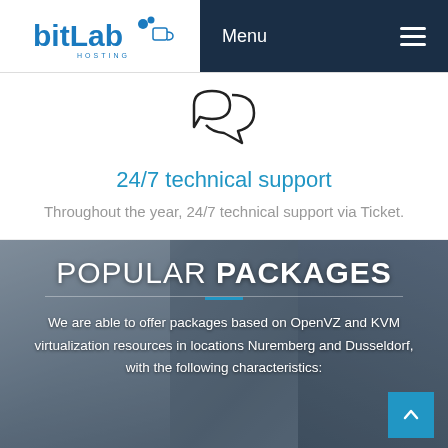[Figure (logo): BitLab Hosting logo with blue stylized text and HOSTING subtitle]
Menu
[Figure (illustration): Two overlapping speech/chat bubble icons in outline style]
24/7 technical support
Throughout the year, 24/7 technical support via Ticket.
POPULAR PACKAGES
We are able to offer packages based on OpenVZ and KVM virtualization resources in locations Nuremberg and Dusseldorf, with the following characteristics: